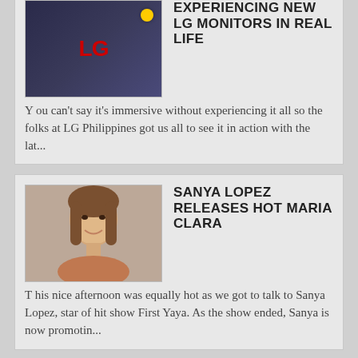[Figure (photo): Partial card showing LG monitor event photo with LG logo and yellow dot, with article title 'EXPERIENCING NEW LG MONITORS IN REAL LIFE' and teaser text]
EXPERIENCING NEW LG MONITORS IN REAL LIFE
Y ou can't say it's immersive without experiencing it all so the folks at LG Philippines got us all to see it in action with the lat...
[Figure (photo): Photo of Sanya Lopez, a woman with long brown hair smiling, with article title 'SANYA LOPEZ RELEASES HOT MARIA CLARA' and teaser text]
SANYA LOPEZ RELEASES HOT MARIA CLARA
T his nice afternoon was equally hot as we got to talk to Sanya Lopez, star of hit show First Yaya. As the show ended, Sanya is now promotin...
[Figure (photo): Photo of Mariane Osabel, a young woman with brown hair smiling, with article title 'MARIANE OSABEL (THE CLASH SEASON 4 CHAMP) RELEASES NEW SINGLE']
MARIANE OSABEL (THE CLASH SEASON 4 CHAMP) RELEASES NEW SINGLE